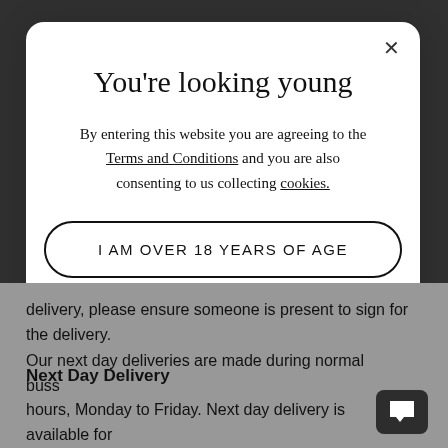You're looking young
By entering this website you are agreeing to the Terms and Conditions and you are also consenting to us collecting cookies.
I AM OVER 18 YEARS OF AGE
delivery, please ensure someone is present to sign for the delivery.
Next Day Delivery
Our next day deliveries are made during normal business hours, Monday to Friday. Next day delivery is available for